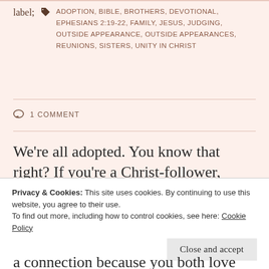ADOPTION, BIBLE, BROTHERS, DEVOTIONAL, EPHESIANS 2:19-22, FAMILY, JESUS, JUDGING, OUTSIDE APPEARANCE, OUTSIDE APPEARANCES, REUNIONS, SISTERS, UNITY IN CHRIST
1 COMMENT
We're all adopted. You know that right? If you're a Christ-follower, you've been adopted into God's family, and you automatically have brothers and sisters in every nation on Earth. You may not know their customs. You may not speak their language
a connection because you both love Jesus. Even if
Privacy & Cookies: This site uses cookies. By continuing to use this website, you agree to their use.
To find out more, including how to control cookies, see here: Cookie Policy
Close and accept